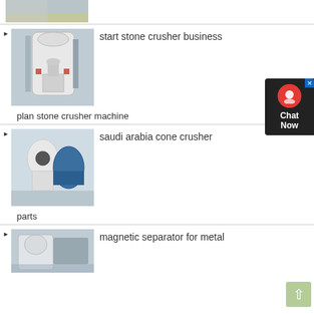[Figure (photo): Top stub of industrial equipment photo, partially visible]
[Figure (photo): Industrial stone crusher / mill machine in a factory setting]
start stone crusher business
plan stone crusher machine
[Figure (photo): Saudi Arabia cone crusher industrial equipment in factory]
saudi arabia cone crusher parts
parts
[Figure (photo): Magnetic separator industrial machine in factory]
magnetic separator for metal